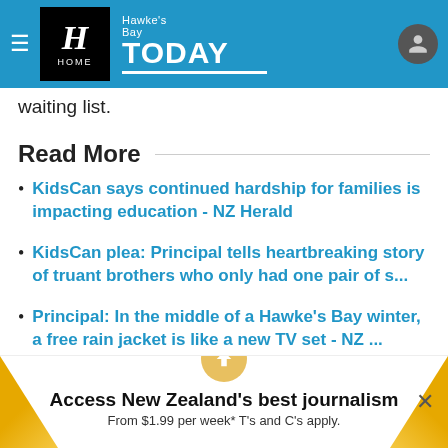Hawke's Bay TODAY
waiting list.
Read More
KidsCan says continued hardship for families is impacting education - NZ Herald
KidsCan plea: Principal tells heartbreaking story of truant brothers who only had one pair of s...
Principal: In the middle of a Hawke's Bay winter, a free rain jacket is like a new TV set - NZ ...
Hawke's Bay schools benefit from KidsCan programme - NZ Herald
Access New Zealand's best journalism From $1.99 per week* T's and C's apply.